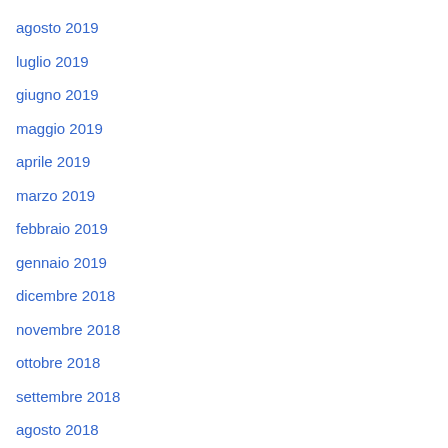agosto 2019
luglio 2019
giugno 2019
maggio 2019
aprile 2019
marzo 2019
febbraio 2019
gennaio 2019
dicembre 2018
novembre 2018
ottobre 2018
settembre 2018
agosto 2018